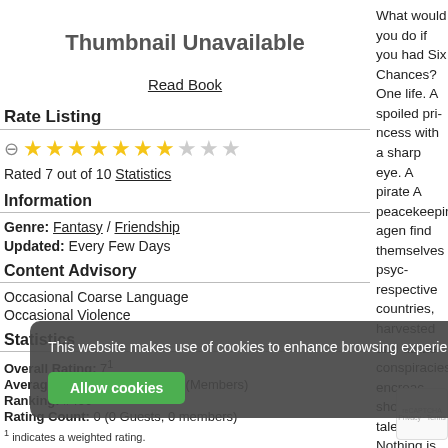[Figure (illustration): Thumbnail Unavailable placeholder box]
Read Book
Rate Listing
Rated 7 out of 10 Statistics
Information
Genre: Fantasy / Friendship
Updated: Every Few Days
Content Advisory
Occasional Coarse Language
Occasional Violence
Statistics
Overall Rating: 7^1
Average Rating: 7 (Guests), 7 (Members)
Ranking: #400
Rating Count: 0 (0 Guests, 0 members)
1 indicates a weighted rating.
What would you do if you had Six Chances? One life. A spoiled princess with a sharp eye. A pirate-hunting Admiral. A peacekeeping agent. Three strangers find themselves psychically linked to their respective countries, their powers harvested and utilized for a host of conspiracies encroaching upon a shootout, a tale of a world shaken. Nothing is coincidental.
Tags
Six Chances has not
Reviews
Six Chan
Recomm...
Six Chances has not